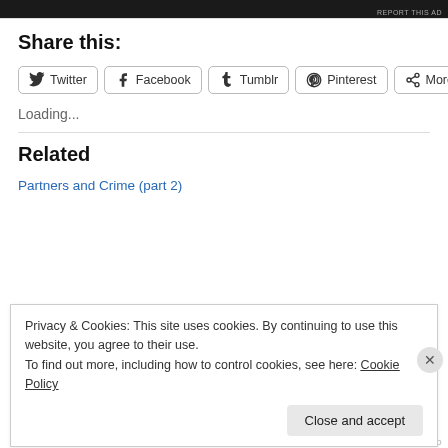Share this:
Twitter  Facebook  Tumblr  Pinterest  More
Loading...
Related
Partners and Crime (part 2)
Privacy & Cookies: This site uses cookies. By continuing to use this website, you agree to their use.
To find out more, including how to control cookies, see here: Cookie Policy
Close and accept